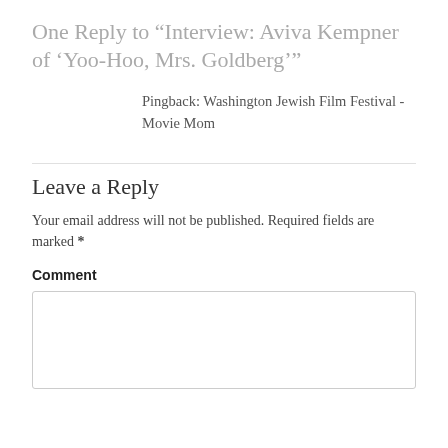One Reply to “Interview: Aviva Kempner of ‘Yoo-Hoo, Mrs. Goldberg’”
Pingback: Washington Jewish Film Festival - Movie Mom
Leave a Reply
Your email address will not be published. Required fields are marked *
Comment